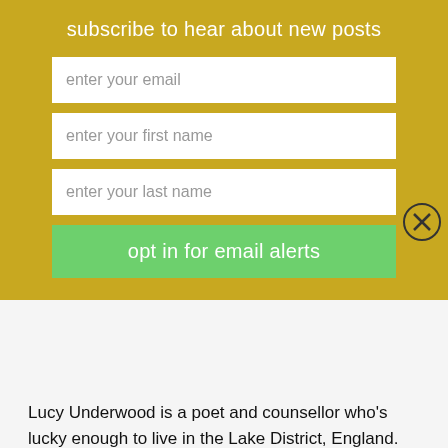subscribe to hear about new posts
enter your email
enter your first name
enter your last name
opt in for email alerts
[Figure (photo): Close-up photo of a woman with curly brown hair, smiling, wearing earrings and a necklace, with a white top]
Lucy Underwood is a poet and counsellor who's lucky enough to live in the Lake District, England. Turning fifty has inspired her to celebrate the